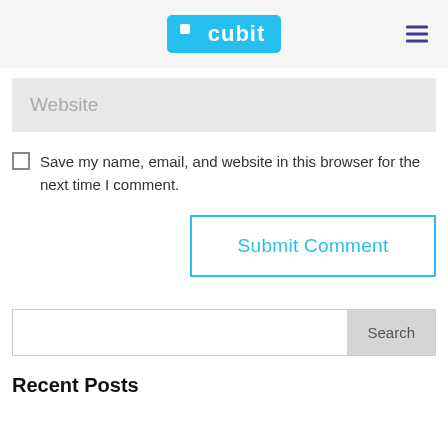cubit
Website
Save my name, email, and website in this browser for the next time I comment.
Submit Comment
Search
Recent Posts